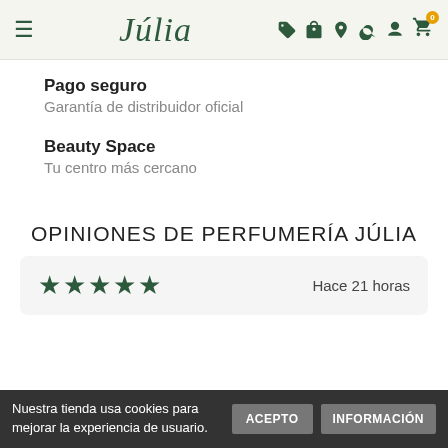Júlia — navigation header with menu, logo, and icons
Pago seguro
Garantía de distribuidor oficial
Beauty Space
Tu centro más cercano
OPINIONES DE PERFUMERÍA JÚLIA
★★★★★ Hace 21 horas
Nuestra tienda usa cookies para mejorar la experiencia de usuario. ACEPTO INFORMACIÓN